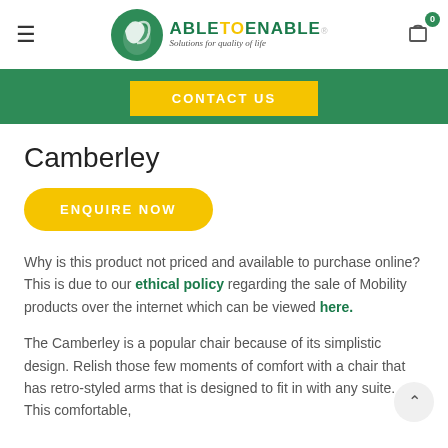AbleToEnable - Solutions for quality of life
Camberley
ENQUIRE NOW
Why is this product not priced and available to purchase online?  This is due to our ethical policy regarding the sale of Mobility products over the internet which can be viewed here.
The Camberley is a popular chair because of its simplistic design. Relish those few moments of comfort with a chair that has retro-styled arms that is designed to fit in with any suite. This comfortable,